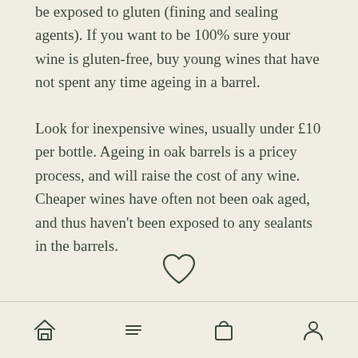be exposed to gluten (fining and sealing agents). If you want to be 100% sure your wine is gluten-free, buy young wines that have not spent any time ageing in a barrel.
Look for inexpensive wines, usually under £10 per bottle. Ageing in oak barrels is a pricey process, and will raise the cost of any wine. Cheaper wines have often not been oak aged, and thus haven't been exposed to any sealants in the barrels.
[Figure (illustration): A heart (like/favorite) icon outline centered on the page]